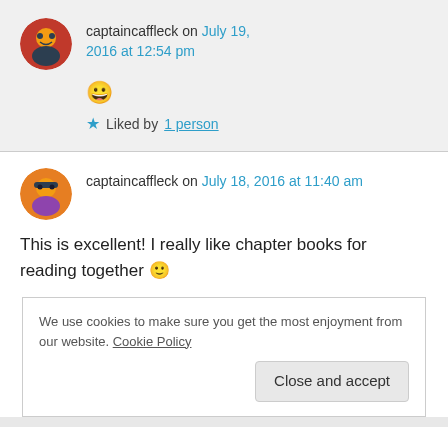captaincaffleck on July 19, 2016 at 12:54 pm
😀
Liked by 1 person
captaincaffleck on July 18, 2016 at 11:40 am
This is excellent! I really like chapter books for reading together 🙂
We use cookies to make sure you get the most enjoyment from our website. Cookie Policy
Close and accept